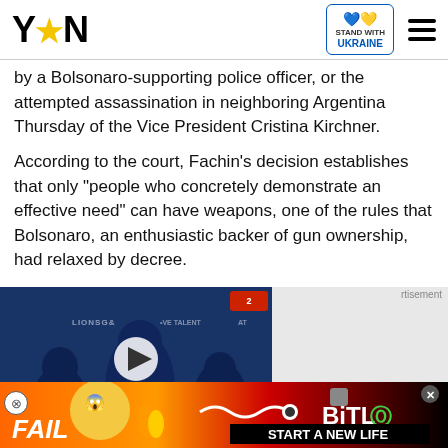YEN (logo) | Stand with Ukraine | Navigation menu
by a Bolsonaro-supporting police officer, or the attempted assassination in neighboring Argentina Thursday of the Vice President Cristina Kirchner.
According to the court, Fachin's decision establishes that only "people who concretely demonstrate an effective need" can have weapons, one of the rules that Bolsonaro, an enthusiastic backer of gun ownership, had relaxed by decree.
[Figure (screenshot): Embedded video player thumbnail showing people at an event, with red channel bug in top right, play button overlay, red caption bar reading 'Tiffany Haddish believes the Supreme Court ruling on abortion is "a way to control women's bodies"', and red chevron button. Advertisement label top right.]
[Figure (other): BitLife advertisement banner at bottom with cartoon character, fire, and 'START A NEW LIFE' text on dark background with game logo]